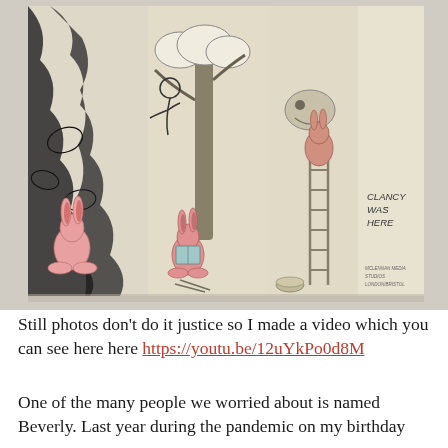[Figure (photo): A photograph of an accordion-fold artist book laid open, showing hand-drawn ink illustrations of rabbits, trees, clouds, and figures. Pink/red rabbits are drawn in the lower left panels. A rabbit climbs a ladder on the right panel. Text written on the right panel reads 'CLANCY WAS HERE'. Small handwritten text at bottom right corner.]
Still photos don't do it justice so I made a video which you can see here here https://youtu.be/12uYkPo0d8M
One of the many people we worried about is named Beverly. Last year during the pandemic on my birthday